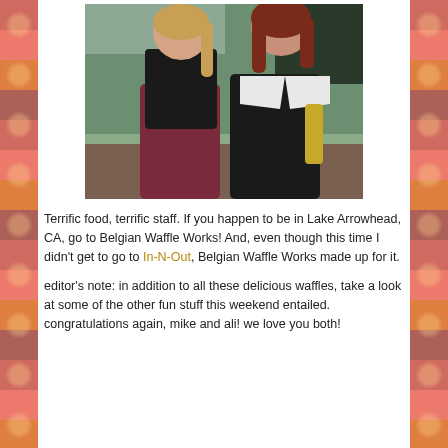[Figure (photo): Two young women posing together inside a restaurant. The woman on the left has blonde hair pulled back and wears a black turtleneck with a maroon skirt. The woman on the right has reddish-brown hair and wears a black top with a sailor-style white collar. A chalkboard menu is visible in the background.]
Terrific food, terrific staff.  If you happen to be in Lake Arrowhead, CA, go to Belgian Waffle Works!  And, even though this time I didn't get to go to In-N-Out, Belgian Waffle Works made up for it.
editor's note:  in addition to all these delicious waffles, take a look at some of the other fun stuff this weekend entailed.  congratulations again, mike and ali!  we love you both!